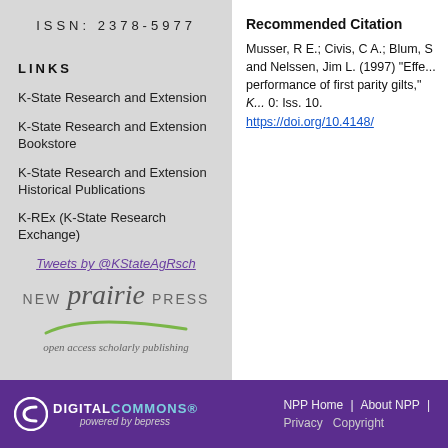ISSN: 2378-5977
LINKS
K-State Research and Extension
K-State Research and Extension Bookstore
K-State Research and Extension Historical Publications
K-REx (K-State Research Exchange)
Tweets by @KStateAgRsch
[Figure (logo): New Prairie Press logo with swoosh and tagline 'open access scholarly publishing']
Recommended Citation
Musser, R E.; Civis, C A.; Blum, S and Nelssen, Jim L. (1997) "Effe... performance of first parity gilts," K... 0: Iss. 10. https://doi.org/10.4148/...
DIGITAL COMMONS powered by bepress | NPP Home | About NPP | Privacy | Copyright